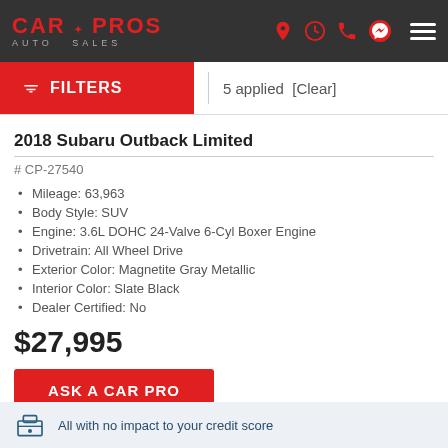Car Pros Auto Sales
FILTERS | 5 applied [Clear]
2018 Subaru Outback Limited
# CP-27540
Mileage: 63,963
Body Style: SUV
Engine: 3.6L DOHC 24-Valve 6-Cyl Boxer Engine
Drivetrain: All Wheel Drive
Exterior Color: Magnetite Gray Metallic
Interior Color: Slate Black
Dealer Certified: No
$27,995
ASK A CAR PRO
All with no impact to your credit score